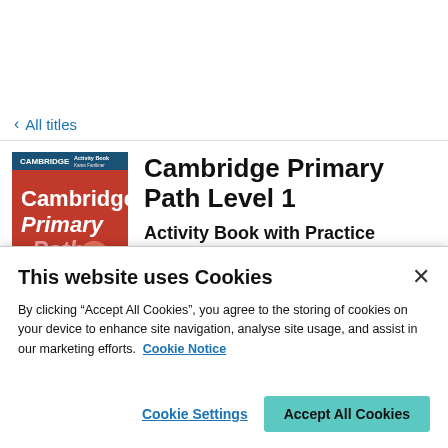< All titles
[Figure (illustration): Cambridge Primary Path Level 1 Activity Book cover — red background with white text reading Cambridge Primary Path, number 1 badge]
Cambridge Primary Path Level 1
Activity Book with Practice
This website uses Cookies
By clicking “Accept All Cookies”, you agree to the storing of cookies on your device to enhance site navigation, analyse site usage, and assist in our marketing efforts.  Cookie Notice
Cookie Settings
Accept All Cookies